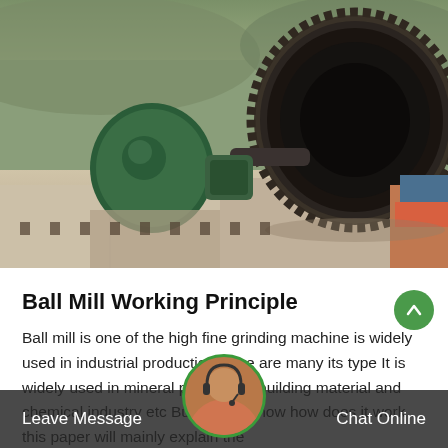[Figure (photo): Industrial ball mill equipment with large dark cylindrical drum, green motor housing and gearbox, mounted on concrete platform with rail tracks. Outdoor industrial setting.]
Ball Mill Working Principle
Ball mill is one of the high fine grinding machine is widely used in industrial production there are many its type It is widely used in mineral processing building material and chemical industry etc But do you know how does it work this paper will mainly explain the